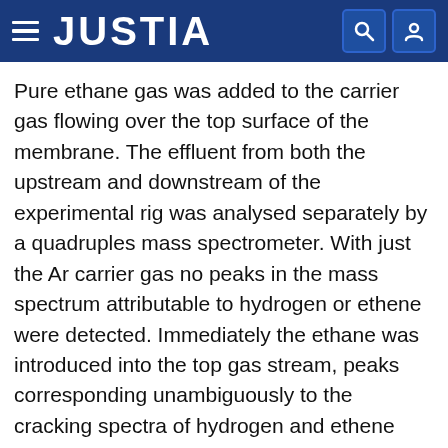JUSTIA
Pure ethane gas was added to the carrier gas flowing over the top surface of the membrane. The effluent from both the upstream and downstream of the experimental rig was analysed separately by a quadruples mass spectrometer. With just the Ar carrier gas no peaks in the mass spectrum attributable to hydrogen or ethene were detected. Immediately the ethane was introduced into the top gas stream, peaks corresponding unambiguously to the cracking spectra of hydrogen and ethene were detected in both effluent streams. By increasing the flow rate of the carrier gas on the downstream side of the membrane the hydrogen and ethene products of the dehydrogenation reaction could be concentrated into the downstream chamber in a manner analogous to the effect of downstream carrier gas flowrate shown in Example 2.